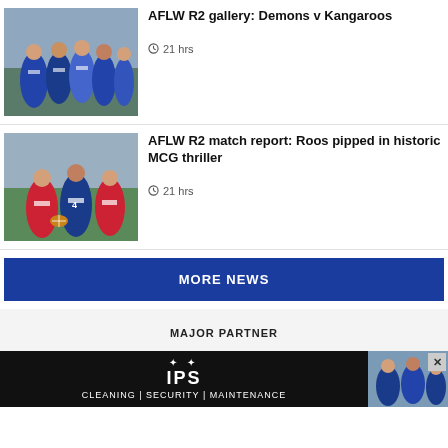[Figure (photo): AFLW players in blue and white uniforms huddled together on the field]
AFLW R2 gallery: Demons v Kangaroos
21 hrs
[Figure (photo): AFLW match action: players in red and white vs blue and white, player number 4 visible]
AFLW R2 match report: Roos pipped in historic MCG thriller
21 hrs
MORE NEWS
MAJOR PARTNER
[Figure (photo): IPS Cleaning Security Maintenance advertisement banner with logo and stars, with AFL players photo on right]